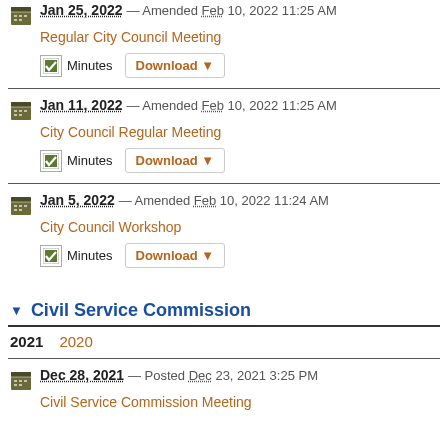Jan 25, 2022 — Amended Feb 10, 2022 11:25 AM
Regular City Council Meeting
Minutes | Download
Jan 11, 2022 — Amended Feb 10, 2022 11:25 AM
City Council Regular Meeting
Minutes | Download
Jan 5, 2022 — Amended Feb 10, 2022 11:24 AM
City Council Workshop
Minutes | Download
Civil Service Commission
2021   2020
Dec 28, 2021 — Posted Dec 23, 2021 3:25 PM
Civil Service Commission Meeting